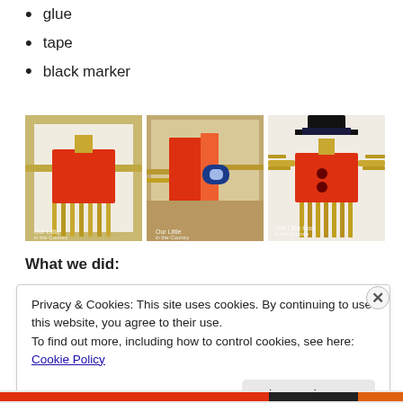glue
tape
black marker
[Figure (photo): Three photos showing steps to make a scarecrow craft using orange/red paper and straw, progressing from basic body to finished figure with black hat and button details]
What we did:
Privacy & Cookies: This site uses cookies. By continuing to use this website, you agree to their use.
To find out more, including how to control cookies, see here: Cookie Policy
Close and accept